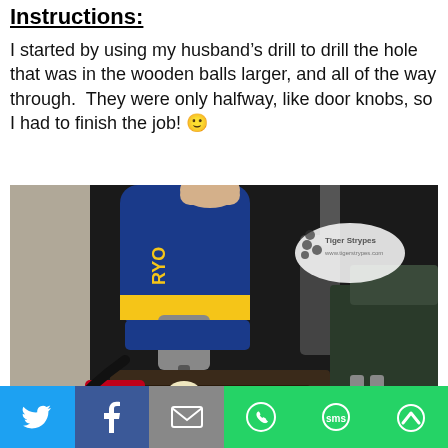Instructions:
I started by using my husband’s drill to drill the hole that was in the wooden balls larger, and all of the way through.  They were only halfway, like door knobs, so I had to finish the job! 🙂
[Figure (photo): Photo of a blue RYOBI drill being used to drill into a small white wooden ball held in a metal vise/clamp on a workbench. A Tiger Strypes watermark logo is visible in the upper right. The scene is dimly lit.]
Twitter | Facebook | Email | WhatsApp | SMS | More